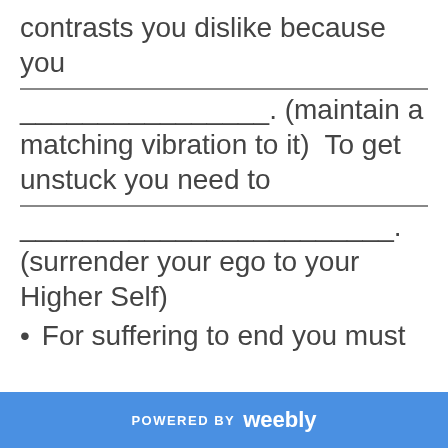contrasts you dislike because you
________________. (maintain a matching vibration to it)  To get unstuck you need to
________________________________. (surrender your ego to your Higher Self)
For suffering to end you must
POWERED BY weebly